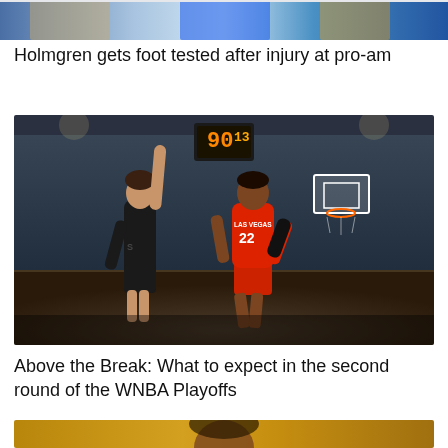[Figure (photo): Partial view of basketball players at top of page, cropped]
Holmgren gets foot tested after injury at pro-am
[Figure (photo): WNBA basketball game photo: player in black Storm jersey raising arm, player in red Las Vegas #22 jersey running on court, indoor arena with crowd]
Above the Break: What to expect in the second round of the WNBA Playoffs
[Figure (photo): Partial view of basketball player, cropped at bottom of page, warm gold background]